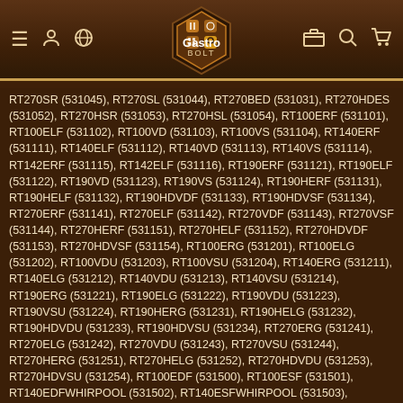Gastro BOLT - Navigation bar with logo
RT270SR (531045), RT270SL (531044), RT270BED (531031), RT270HDES (531052), RT270HSR (531053), RT270HSL (531054), RT100ERF (531101), RT100ELF (531102), RT100VD (531103), RT100VS (531104), RT140ERF (531111), RT140ELF (531112), RT140VD (531113), RT140VS (531114), RT142ERF (531115), RT142ELF (531116), RT190ERF (531121), RT190ELF (531122), RT190VD (531123), RT190VS (531124), RT190HERF (531131), RT190HELF (531132), RT190HDVDF (531133), RT190HDVSF (531134), RT270ERF (531141), RT270ELF (531142), RT270VDF (531143), RT270VSF (531144), RT270HERF (531151), RT270HELF (531152), RT270HDVDF (531153), RT270HDVSF (531154), RT100ERG (531201), RT100ELG (531202), RT100VDU (531203), RT100VSU (531204), RT140ERG (531211), RT140ELG (531212), RT140VDU (531213), RT140VSU (531214), RT190ERG (531221), RT190ELG (531222), RT190VDU (531223), RT190VSU (531224), RT190HERG (531231), RT190HELG (531232), RT190HDVDU (531233), RT190HDVSU (531234), RT270ERG (531241), RT270ELG (531242), RT270VDU (531243), RT270VSU (531244), RT270HERG (531251), RT270HELG (531252), RT270HDVDU (531253), RT270HDVSU (531254), RT100EDF (531500), RT100ESF (531501), RT140EDFWHIRPOOL (531502), RT140ESFWHIRPOOL (531503), RT190EDFWHIRPOOL (531504), RT190ESFWHIRPOOL (531505), RT142EDFWHIRPOOL (531506), RT142ESFWHIRPOOL (531507), RT190HDEDFWHIRPOOL (531508), RT190HDESFWHIRPOOL (531509), RT270EDFWHIRPOOL (531510), RT270ESFWHIRPOOL (531511), RT270HDEDFWHIRPOOL (531512), RT270HDESFWHIRPOOL (531513), RT100EDECO (531520), RT100ESECO (531521), RT100SRC (531522), RT100SLC (531523), RT100ERCF (531524), RT100ELCF (531525), RT100EDECOFWHIRPOOL (531526), RT100ESECOFWHIRPOOL (531527), RT100ERCG (531528), RT100ELCG (531529), RT140EDECO (531530), RT140ESECO (531531), RT140SRC (531532), RT140SLC